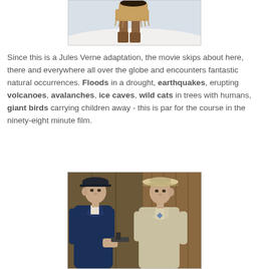[Figure (photo): A person in Native American costume running through snow, wearing brown boots and fringed clothing, visible from waist down.]
Since this is a Jules Verne adaptation, the movie skips about here, there and everywhere all over the globe and encounters fantastic natural occurrences. Floods in a drought, earthquakes, erupting volcanoes, avalanches, ice caves, wild cats in trees with humans, giant birds carrying children away - this is par for the course in the ninety-eight minute film.
[Figure (photo): Two men standing and talking: one on the left wearing a blue jacket and dark cap, the other on the right wearing a light beige suit and wide-brimmed hat with a bow tie.]